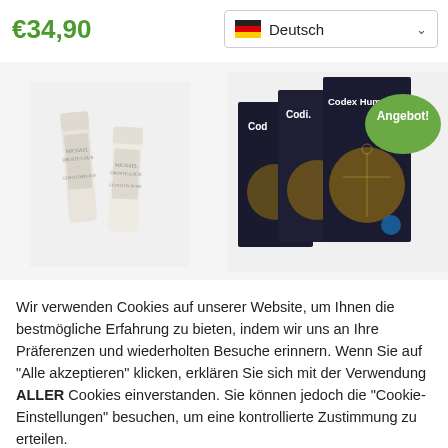€34,90
Deutsch
€1.465,00
[Figure (photo): Two white cream/lotion tubes (cosmetic products) with text on them, on a light gray background]
[Figure (photo): Stack of dark hardcover books titled 'Codex Humanus' (Cod., Codi., Codex Humanus visible on spines/covers) with a green oval badge reading 'Angebot!']
Wir verwenden Cookies auf unserer Website, um Ihnen die bestmögliche Erfahrung zu bieten, indem wir uns an Ihre Präferenzen und wiederholten Besuche erinnern. Wenn Sie auf "Alle akzeptieren" klicken, erklären Sie sich mit der Verwendung ALLER Cookies einverstanden. Sie können jedoch die "Cookie-Einstellungen" besuchen, um eine kontrollierte Zustimmung zu erteilen.
Cookie Einstellungen
Alle Akzeptieren